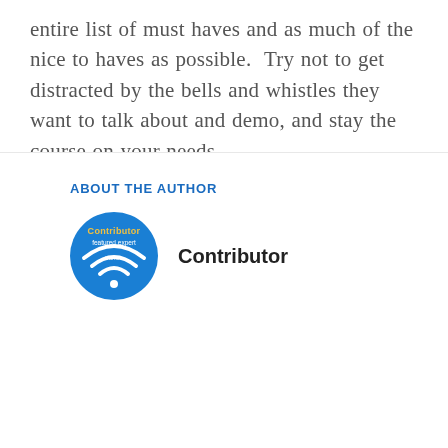entire list of must haves and as much of the nice to haves as possible.  Try not to get distracted by the bells and whistles they want to talk about and demo, and stay the course on your needs.
Best,
Ken
ABOUT THE AUTHOR
[Figure (logo): Blue circular badge with 'Contributor featured expert Vanilla' text and white WiFi/signal icon]
Contributor